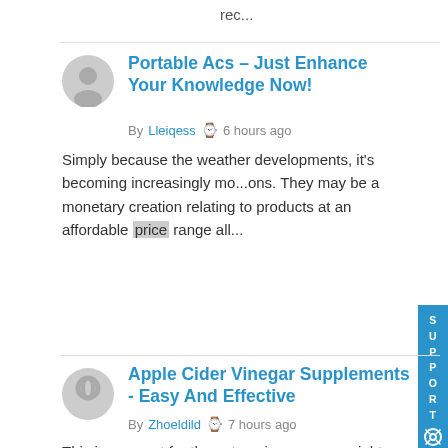rec...
Portable Acs – Just Enhance Your Knowledge Now!
By Lleiqess  6 hours ago
Simply because the weather developments, it's becoming increasingly mo...ons. They may be a monetary creation relating to products at an affordable price range all...
Apple Cider Vinegar Supplements - Easy And Effective
By Zhoeldild  7 hours ago
This is rampant for those to enjoy excess weight and better blood sugar presently, and thus unwanted fat and better blood